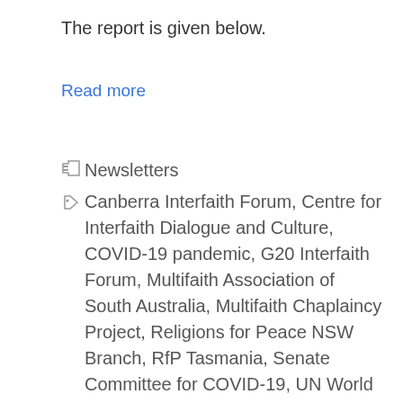The report is given below.
Read more
Newsletters
Canberra Interfaith Forum, Centre for Interfaith Dialogue and Culture, COVID-19 pandemic, G20 Interfaith Forum, Multifaith Association of South Australia, Multifaith Chaplaincy Project, Religions for Peace NSW Branch, RfP Tasmania, Senate Committee for COVID-19, UN World Interfaith Harmony Week Addresses, Victorian Multicultural Commission